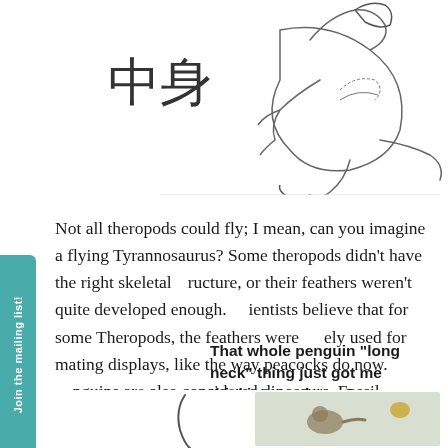[Figure (illustration): Pencil sketch illustration of a theropod dinosaur figure with Chinese characters 中身 on the left side]
Not all theropods could fly; I mean, can you imagine a flying Tyrannosaurus? Some theropods didn't have the right skeletal structure, or their feathers weren't quite developed enough. Scientists believe that for some Theropods, the feathers were solely used for mating displays, like the way peacocks do now. Penguins are also considered dinosaurs. Fossil penguin skin has been found in the Antarctic. So we really do have avian dinosaurs still around!
That whole penguin "long neck" thing just got me thinkin', you know?
[Figure (illustration): Bottom portion showing a curved neck sketch on the left and a photo of a bird on the right]